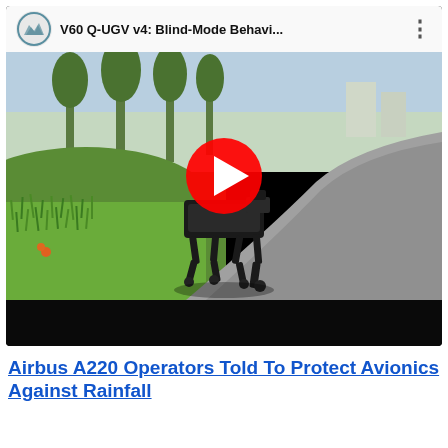[Figure (screenshot): YouTube video player embed showing a quadruped robot (V60 Q-UGV) walking on a paved path next to green grass. The video title bar reads 'V60 Q-UGV v4: Blind-Mode Behavi...' with a YouTube logo/channel icon on the left and a three-dot menu on the right. A large red circular play button is centered over the thumbnail. The bottom portion of the player is a black bar.]
Airbus A220 Operators Told To Protect Avionics Against Rainfall